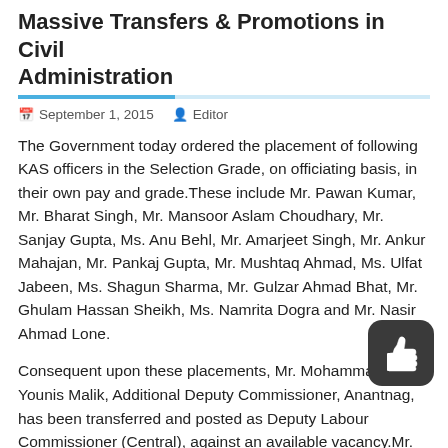Massive Transfers & Promotions in Civil Administration
September 1, 2015   Editor
The Government today ordered the placement of following KAS officers in the Selection Grade, on officiating basis, in their own pay and grade.These include Mr. Pawan Kumar, Mr. Bharat Singh, Mr. Mansoor Aslam Choudhary, Mr. Sanjay Gupta, Ms. Anu Behl, Mr. Amarjeet Singh, Mr. Ankur Mahajan, Mr. Pankaj Gupta, Mr. Mushtaq Ahmad, Ms. Ulfat Jabeen, Ms. Shagun Sharma, Mr. Gulzar Ahmad Bhat, Mr. Ghulam Hassan Sheikh, Ms. Namrita Dogra and Mr. Nasir Ahmad Lone.
Consequent upon these placements, Mr. Mohammad Younis Malik, Additional Deputy Commissioner, Anantnag, has been transferred and posted as Deputy Labour Commissioner (Central), against an available vacancy.Mr. Nazir Ahmad Baba, Additional Deputy Commissioner, Bandipore, has been transferred and posted as Additional Deputy Commissioner,